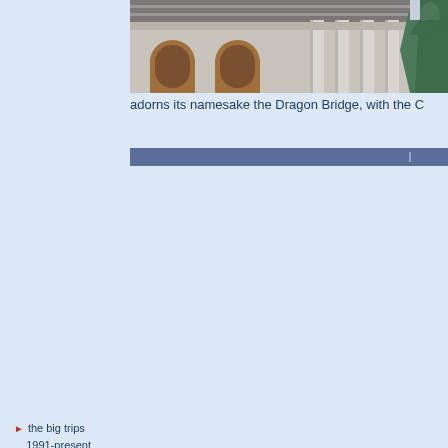[Figure (photo): Photograph of a classical building with columns and arched windows, with a green statue visible on the right edge — Dragon Bridge scene]
adorns its namesake the Dragon Bridge, with the C
the big trips
1991-present